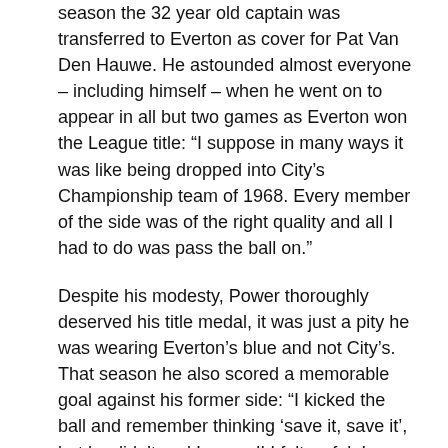season the 32 year old captain was transferred to Everton as cover for Pat Van Den Hauwe.  He astounded almost everyone – including himself – when he went on to appear in all but two games as Everton won the League title:  “I suppose in many ways it was like being dropped into City’s Championship team of 1968.  Every member of the side was of the right quality and all I had to do was pass the ball on.”
Despite his modesty, Power thoroughly deserved his title medal, it was just a pity he was wearing Everton’s blue and not City’s.  That season he also scored a memorable goal against his former side:  “I kicked the ball and remember thinking ‘save it, save it’, but he didn’t and I scored!  I felt awful.  I couldn’t celebrate.  I knew City were struggling and I couldn’t bear inflicting any pain.  Awful!”
Power did ultimately return to City to take on a role with